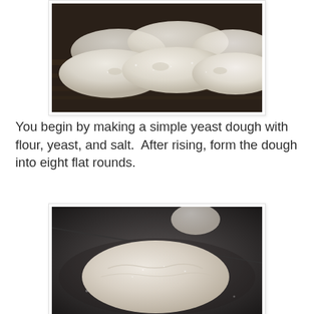[Figure (photo): Multiple flat rounds of bread dough dusted with flour, arranged on a wooden surface, close-up shot from above at an angle.]
You begin by making a simple yeast dough with flour, yeast, and salt.  After rising, form the dough into eight flat rounds.
[Figure (photo): A single round flat bread dough portion resting on a dark floured baking sheet, photographed from slightly above.]